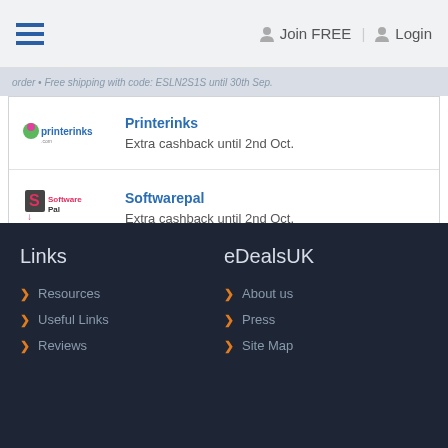Join FREE | Login
order • Free shipping with code: ESLN2S1S until 30th Sep.
Printerinks
Extra cashback until 2nd Oct.
Softwarepal
Extra cashback until 2nd Oct.
Links
eDealsUK
Resources
Useful Links
Reviews
About us
Press
Site Map